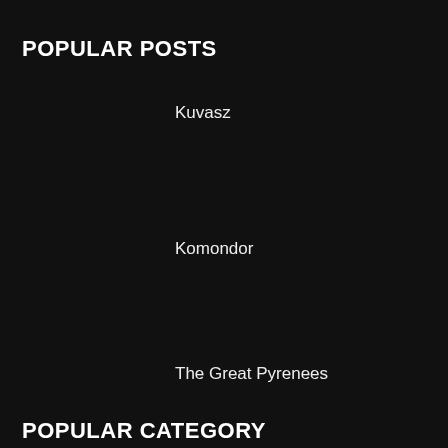POPULAR POSTS
Kuvasz
Komondor
The Great Pyrenees
POPULAR CATEGORY